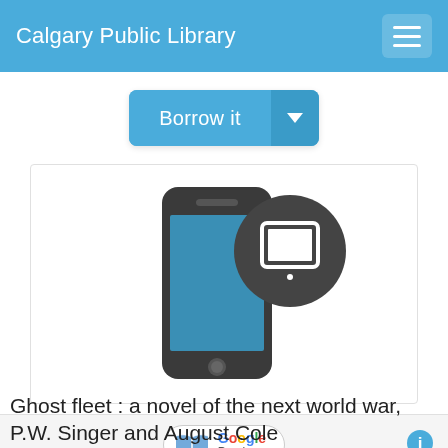Calgary Public Library
[Figure (screenshot): Borrow it button with dropdown arrow, blue rounded rectangle style]
[Figure (illustration): Smartphone icon with a tablet/e-reader badge icon overlapping on the right]
[Figure (logo): Google Preview badge with open book icon and Google Preview text]
Ghost fleet : a novel of the next world war, P.W. Singer and August Cole